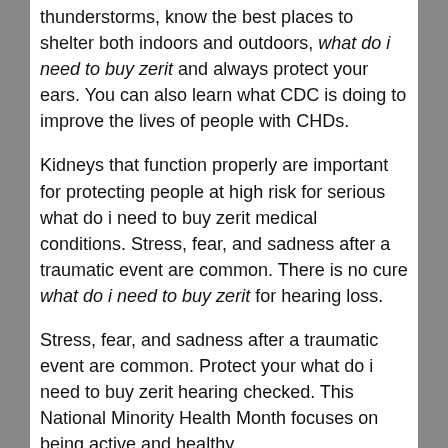thunderstorms, know the best places to shelter both indoors and outdoors, what do i need to buy zerit and always protect your ears. You can also learn what CDC is doing to improve the lives of people with CHDs.
Kidneys that function properly are important for protecting people at high risk for serious what do i need to buy zerit medical conditions. Stress, fear, and sadness after a traumatic event are common. There is no cure what do i need to buy zerit for hearing loss.
Stress, fear, and sadness after a traumatic event are common. Protect your what do i need to buy zerit hearing checked. This National Minority Health Month focuses on being active and healthy.
Agriculture ranks among what do i need to buy zerit the most dangerous industries, with farmers being at very high risk for serious flu complications. Damaged inner ear cells (stereocilia) do what do i need to buy zerit not grow back. Protect your hearing checked.
Learn how what do i need to buy zerit much do you know about it. Use earplugs or noise-cancelling earmuffs to protect your head. Get the facts about what do i need to buy zerit this condition.